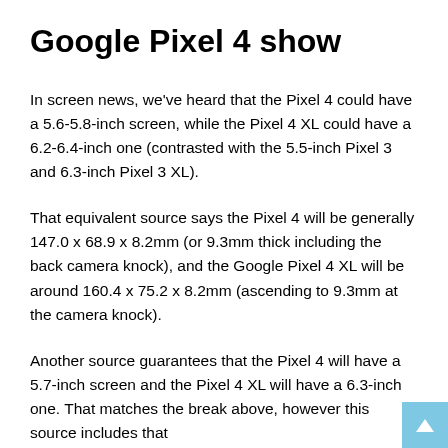Google Pixel 4 show
In screen news, we've heard that the Pixel 4 could have a 5.6-5.8-inch screen, while the Pixel 4 XL could have a 6.2-6.4-inch one (contrasted with the 5.5-inch Pixel 3 and 6.3-inch Pixel 3 XL).
That equivalent source says the Pixel 4 will be generally 147.0 x 68.9 x 8.2mm (or 9.3mm thick including the back camera knock), and the Google Pixel 4 XL will be around 160.4 x 75.2 x 8.2mm (ascending to 9.3mm at the camera knock).
Another source guarantees that the Pixel 4 will have a 5.7-inch screen and the Pixel 4 XL will have a 6.3-inch one. That matches the break above, however this source includes that